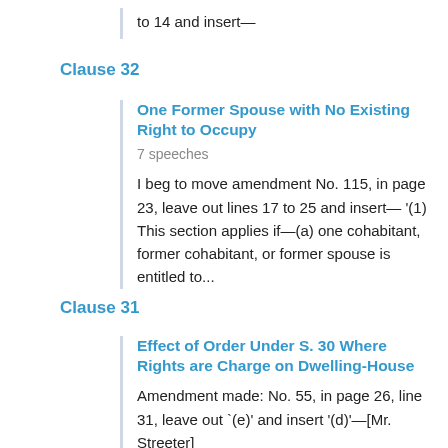to 14 and insert—
Clause 32
One Former Spouse with No Existing Right to Occupy
7 speeches
I beg to move amendment No. 115, in page 23, leave out lines 17 to 25 and insert— '(1) This section applies if—(a) one cohabitant, former cohabitant, or former spouse is entitled to...
Clause 31
Effect of Order Under S. 30 Where Rights are Charge on Dwelling-House
Amendment made: No. 55, in page 26, line 31, leave out `(e)' and insert '(d)'—[Mr. Streeter]